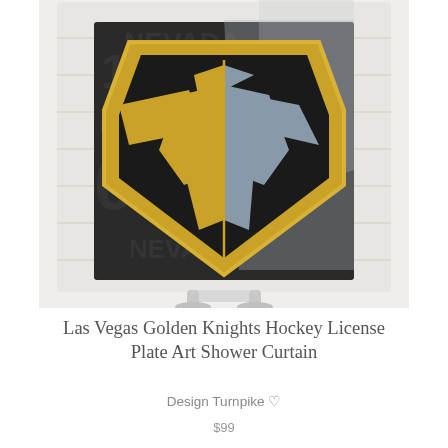[Figure (photo): Product photo of a shower curtain displayed on a white stand. The curtain features the Las Vegas Golden Knights hockey logo — a gold and black knight helmet shield design — overlaid on Nevada license plates against a white wood plank background.]
Las Vegas Golden Knights Hockey License Plate Art Shower Curtain
Design Turnpike ♡